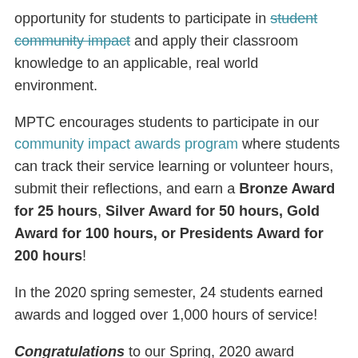opportunity for students to participate in student community impact and apply their classroom knowledge to an applicable, real world environment.
MPTC encourages students to participate in our community impact awards program where students can track their service learning or volunteer hours, submit their reflections, and earn a Bronze Award for 25 hours, Silver Award for 50 hours, Gold Award for 100 hours, or Presidents Award for 200 hours!
In the 2020 spring semester, 24 students earned awards and logged over 1,000 hours of service!
Congratulations to our Spring, 2020 award winners!